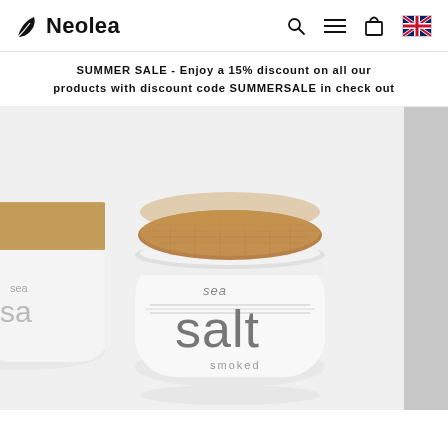Neolea
SUMMER SALE - Enjoy a 15% discount on all our products with discount code SUMMERSALE in check out
[Figure (photo): White ceramic sea salt jar with cork lid labeled 'sea salt smoked', shown in center with a partially visible second jar on the left side.]